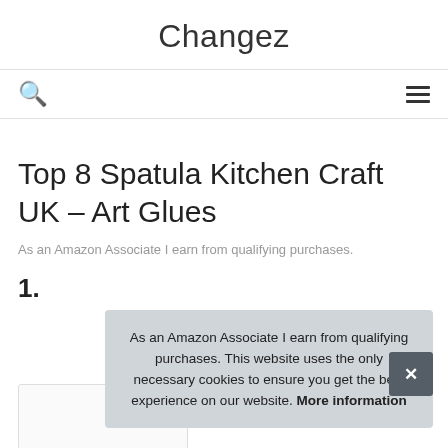Changez
As an Amazon Associate I earn from qualifying purchases.
Top 8 Spatula Kitchen Craft UK – Art Glues
As an Amazon Associate I earn from qualifying purchases.
1.
As an Amazon Associate I earn from qualifying purchases. This website uses the only necessary cookies to ensure you get the best experience on our website. More information